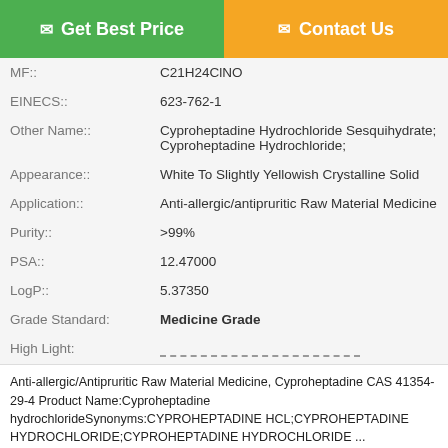[Figure (other): Get Best Price button (green) and Contact Us button (orange)]
| MF:: | C21H24ClNO |
| EINECS:: | 623-762-1 |
| Other Name:: | Cyproheptadine Hydrochloride Sesquihydrate; Cyproheptadine Hydrochloride; |
| Appearance:: | White To Slightly Yellowish Crystalline Solid |
| Application:: | Anti-allergic/antipruritic Raw Material Medicine |
| Purity:: | >99% |
| PSA:: | 12.47000 |
| LogP:: | 5.37350 |
| Grade Standard: | Medicine Grade |
| High Light: | --- (dashed line) |
Anti-allergic/Antipruritic Raw Material Medicine, Cyproheptadine CAS 41354-29-4 Product Name:Cyproheptadine hydrochlorideSynonyms:CYPROHEPTADINE HCL;CYPROHEPTADINE HYDROCHLORIDE;CYPROHEPTADINE HYDROCHLORIDE ...
[Figure (other): Chat Now button and Request A Quote button at bottom]